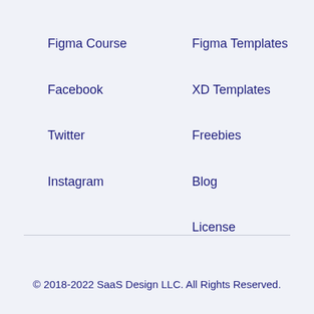Figma Course
Figma Templates
Facebook
XD Templates
Twitter
Freebies
Instagram
Blog
License
© 2018-2022 SaaS Design LLC. All Rights Reserved.